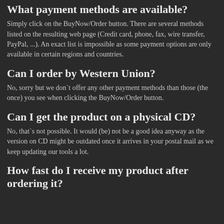What payment methods are available?
Simply click on the BuyNow/Order button. There are several methods listed on the resulting web page (Credit card, phone, fax, wire transfer, PayPal, ...). An exact list is impossible as some payment options are only available in certain regions and countries.
Can I order by Western Union?
No, sorry but we don`t offer any other payment methods than those (the once) you see when clicking the BuyNow/Order button.
Can I get the product on a physical CD?
No, that`s not possible. It would (be) not be a good idea anyway as the version on CD might be outdated once it arrives in your postal mail as we keep updating our tools a lot.
How fast do I receive my product after ordering it?